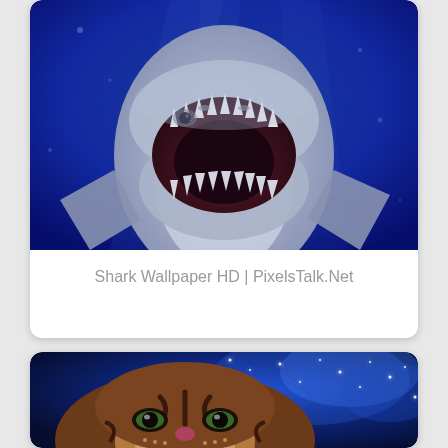[Figure (photo): Close-up photo of a great white shark with mouth wide open showing rows of teeth, underwater, deep blue background]
Shark Wallpaper HD | PixelsTalk.Net
[Figure (photo): Photo of a tiger face looking up with cosmic/galaxy blue background with stars]